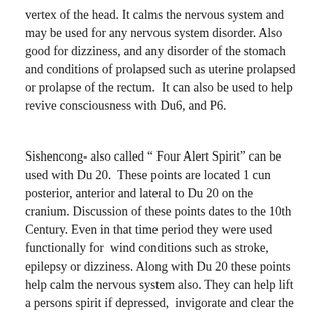vertex of the head. It calms the nervous system and may be used for any nervous system disorder. Also good for dizziness, and any disorder of the stomach and conditions of prolapsed such as uterine prolapsed or prolapse of the rectum.  It can also be used to help revive consciousness with Du6, and P6.
Sishencong- also called " Four Alert Spirit" can be used with Du 20.  These points are located 1 cun posterior, anterior and lateral to Du 20 on the cranium. Discussion of these points dates to the 10th Century. Even in that time period they were used functionally for  wind conditions such as stroke, epilepsy or dizziness. Along with Du 20 these points help calm the nervous system also. They can help lift a persons spirit if depressed,  invigorate and clear the mind for better clearer mental thinking. Treat headache and vertigo also.  One major function is they help with insomnia, especially when Moxa is used. In a